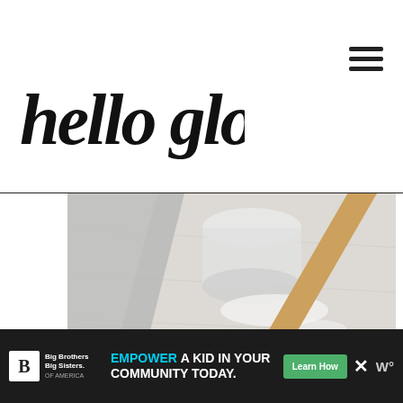hello glow
[Figure (photo): Overhead flat-lay photo of dental care items on a light wood surface: a small amber essential oil bottle labeled 'NOW', a wooden toothbrush with light bristles, a glass jar containing white powder, powder scattered on the surface, and a light gray cloth in the upper left corner.]
[Figure (photo): Advertisement banner at bottom: Big Brothers Big Sisters logo on left with text 'EMPOWER A KID IN YOUR COMMUNITY TODAY.' in white and cyan, green Learn How button, close X button, and weather icon on right.]